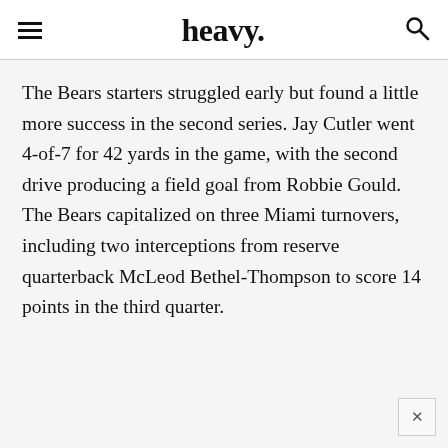heavy.
The Bears starters struggled early but found a little more success in the second series. Jay Cutler went 4-of-7 for 42 yards in the game, with the second drive producing a field goal from Robbie Gould. The Bears capitalized on three Miami turnovers, including two interceptions from reserve quarterback McLeod Bethel-Thompson to score 14 points in the third quarter.